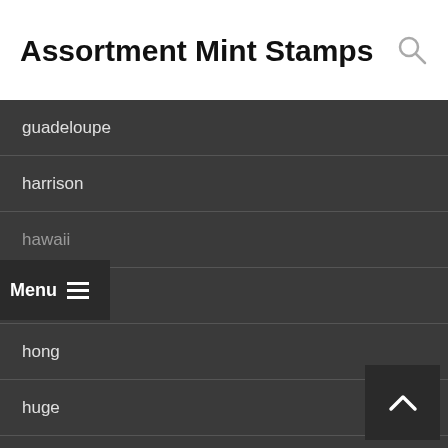Assortment Mint Stamps
guadeloupe
harrison
hawaii
helena
hong
huge
hungarian
ihobb
immaculate